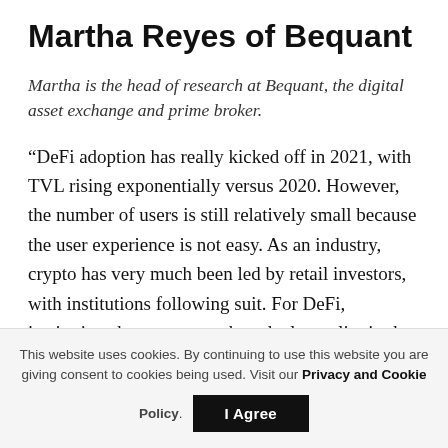Martha Reyes of Bequant
Martha is the head of research at Bequant, the digital asset exchange and prime broker.
“DeFi adoption has really kicked off in 2021, with TVL rising exponentially versus 2020. However, the number of users is still relatively small because the user experience is not easy. As an industry, crypto has very much been led by retail investors, with institutions following suit. For DeFi, institutions have gotten onboard a lot earlier in the journey and are influencing
This website uses cookies. By continuing to use this website you are giving consent to cookies being used. Visit our Privacy and Cookie Policy.